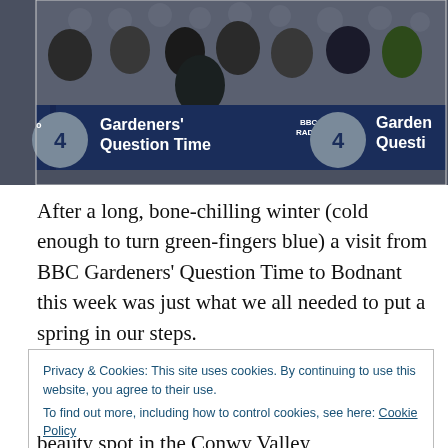[Figure (photo): Group photo of people gathered around a table with a navy blue tablecloth. BBC Radio 4 Gardeners' Question Time branding visible on the banner in front of the table.]
After a long, bone-chilling winter (cold enough to turn green-fingers blue) a visit from BBC Gardeners' Question Time to Bodnant this week was just what we all needed to put a spring in our steps.
Privacy & Cookies: This site uses cookies. By continuing to use this website, you agree to their use.
To find out more, including how to control cookies, see here: Cookie Policy
[Close and accept]
beauty spot in the Conwy Valley